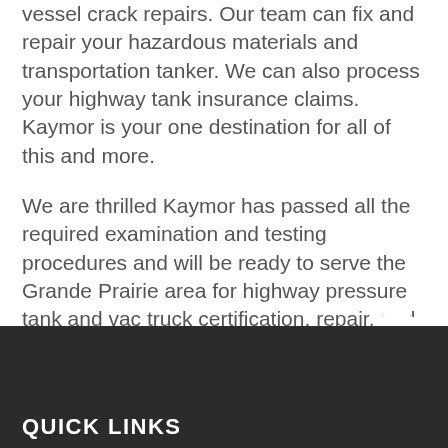vessel crack repairs. Our team can fix and repair your hazardous materials and transportation tanker. We can also process your highway tank insurance claims. Kaymor is your one destination for all of this and more.
We are thrilled Kaymor has passed all the required examination and testing procedures and will be ready to serve the Grande Prairie area for highway pressure tank and vac truck certification, repair, and more. Call us to book your service at 1-866-967-2691 or 780-538-2623 or click here to send a message.
QUICK LINKS